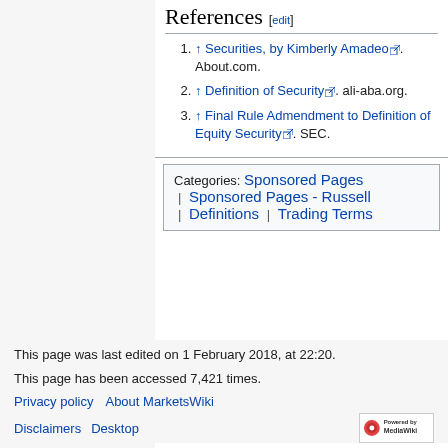References [edit]
↑ Securities, by Kimberly Amadeo. About.com.
↑ Definition of Security. ali-aba.org.
↑ Final Rule Admendment to Definition of Equity Security. SEC.
Categories: Sponsored Pages | Sponsored Pages - Russell | Definitions | Trading Terms
This page was last edited on 1 February 2018, at 22:20.
This page has been accessed 7,421 times.
Privacy policy   About MarketsWiki
Disclaimers   Desktop